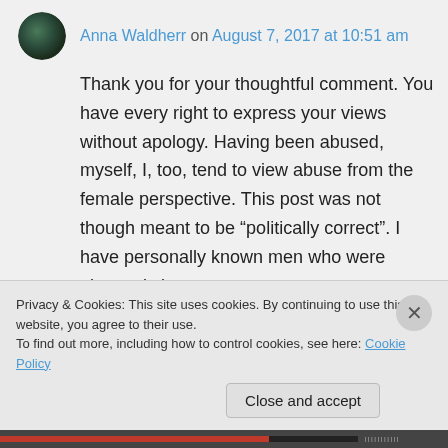Anna Waldherr on August 7, 2017 at 10:51 am
Thank you for your thoughtful comment. You have every right to express your views without apology. Having been abused, myself, I, too, tend to view abuse from the female perspective. This post was not though meant to be “politically correct”. I have personally known men who were abuse victims.
Privacy & Cookies: This site uses cookies. By continuing to use this website, you agree to their use. To find out more, including how to control cookies, see here: Cookie Policy
Close and accept